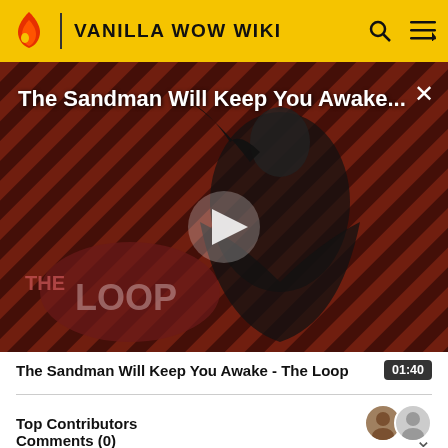VANILLA WOW WIKI
[Figure (screenshot): Video thumbnail showing The Sandman character in black costume against diagonal striped red/dark background with 'THE LOOP' logo overlay and a play button in center]
The Sandman Will Keep You Awake - The Loop
01:40
Top Contributors
Comments (0)